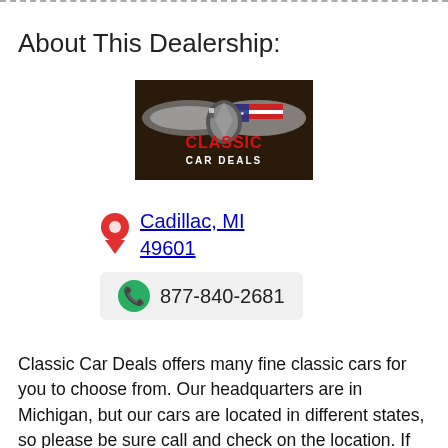About This Dealership:
[Figure (logo): Classic Car Deals logo featuring a chrome wing emblem with American flag and red text reading CLASSIC CAR DEALS on dark background]
Cadillac, MI 49601
877-840-2681
Classic Car Deals offers many fine classic cars for you to choose from. Our headquarters are in Michigan, but our cars are located in different states, so please be sure call and check on the location. If you don't see your dream car, don't worry CCD has clients all over the USA, so we